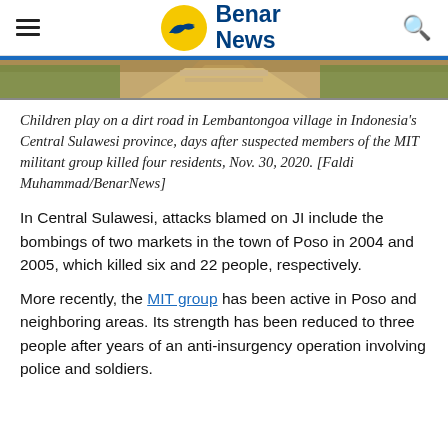Benar News
[Figure (photo): Partial view of a dirt road in Lembantongoa village, Central Sulawesi province, Indonesia — outdoor scene with sandy path and vegetation]
Children play on a dirt road in Lembantongoa village in Indonesia's Central Sulawesi province, days after suspected members of the MIT militant group killed four residents, Nov. 30, 2020. [Faldi Muhammad/BenarNews]
In Central Sulawesi, attacks blamed on JI include the bombings of two markets in the town of Poso in 2004 and 2005, which killed six and 22 people, respectively.
More recently, the MIT group has been active in Poso and neighboring areas. Its strength has been reduced to three people after years of an anti-insurgency operation involving police and soldiers.